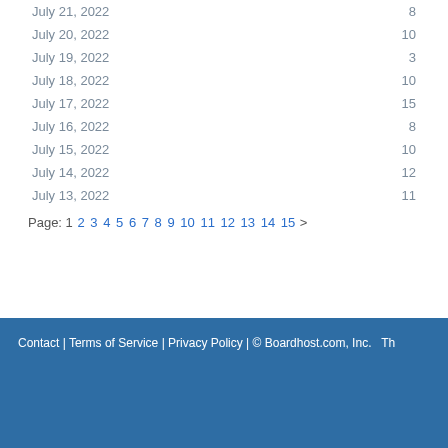July 21, 2022 — 8
July 20, 2022 — 10
July 19, 2022 — 3
July 18, 2022 — 10
July 17, 2022 — 15
July 16, 2022 — 8
July 15, 2022 — 10
July 14, 2022 — 12
July 13, 2022 — 11
Page: 1 2 3 4 5 6 7 8 9 10 11 12 13 14 15 >
Contact | Terms of Service | Privacy Policy | © Boardhost.com, Inc.